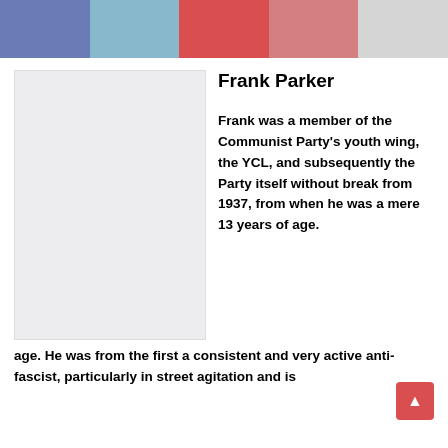[Figure (other): Decorative color bar with five segments: blue-purple, light blue, red, salmon/rose, light gray]
Frank Parker
[Figure (photo): Placeholder photo box (light gray background), representing a portrait of Frank Parker]
Frank was a member of the Communist Party's youth wing, the YCL, and subsequently the Party itself without break from 1937, from when he was a mere 13 years of age. He was from the first a consistent and very active anti-fascist, particularly in street agitation and is